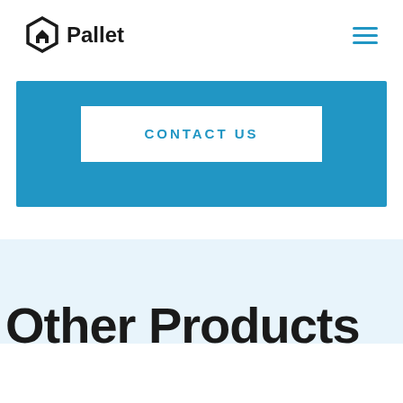Pallet
CONTACT US
Other Products